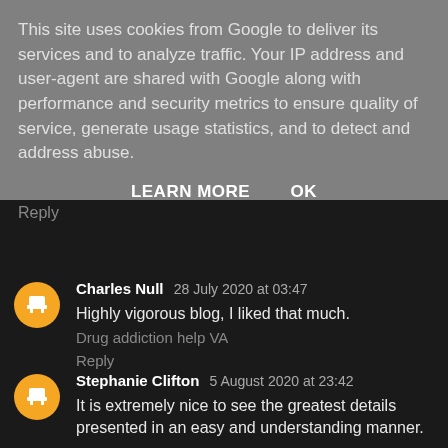This site uses cookies from Google to deliver its services and to analyze traffic. Your IP address and user-agent are shared with Google along with performance and security metrics to ensure quality of service, generate usage statistics, and to detect and address abuse.
LEARN MORE    OK
Reply
Charles Null 28 July 2020 at 03:47
Highly vigorous blog, I liked that much.
Drug addiction help VA
Reply
Stephanie Clifton 5 August 2020 at 23:42
It is extremely nice to see the greatest details presented in an easy and understanding manner.